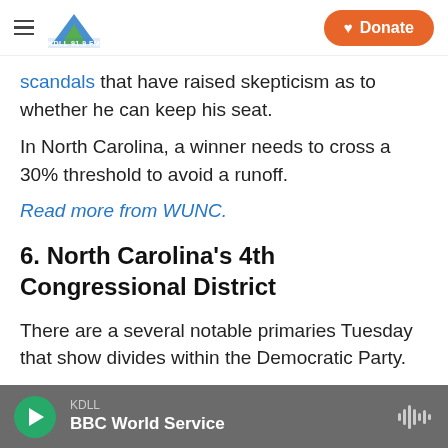KDLL logo and Donate button
scandals that have raised skepticism as to whether he can keep his seat.
In North Carolina, a winner needs to cross a 30% threshold to avoid a runoff.
Read more from WUNC.
6. North Carolina's 4th Congressional District
There are a several notable primaries Tuesday that show divides within the Democratic Party.
KDLL BBC World Service